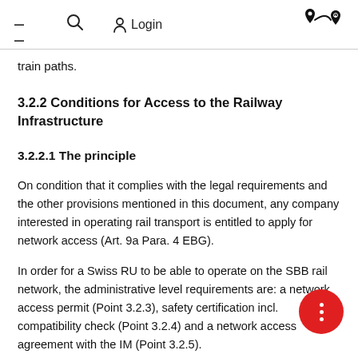≡  🔍  Login  [route icon]
train paths.
3.2.2 Conditions for Access to the Railway Infrastructure
3.2.2.1 The principle
On condition that it complies with the legal requirements and the other provisions mentioned in this document, any company interested in operating rail transport is entitled to apply for network access (Art. 9a Para. 4 EBG).
In order for a Swiss RU to be able to operate on the SBB rail network, the administrative level requirements are: a network access permit (Point 3.2.3), safety certification incl. compatibility check (Point 3.2.4) and a network access agreement with the IM (Point 3.2.5).